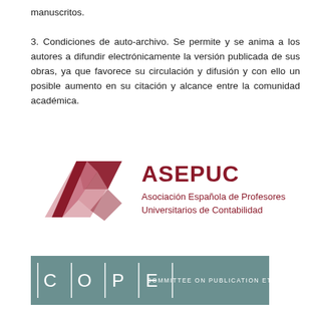manuscritos.

3. Condiciones de auto-archivo. Se permite y se anima a los autores a difundir electrónicamente la versión publicada de sus obras, ya que favorece su circulación y difusión y con ello un posible aumento en su citación y alcance entre la comunidad académica.
[Figure (logo): ASEPUC logo — stylized geometric A shape in dark red and pink/mauve colors, with text 'ASEPUC' in large bold dark red letters and subtitle 'Asociación Española de Profesores Universitarios de Contabilidad']
[Figure (logo): COPE — Committee on Publication Ethics logo on a teal/gray background rectangle, showing C|O|P|E letters separated by vertical bars, with text 'COMMITTEE ON PUBLICATION ETHICS']